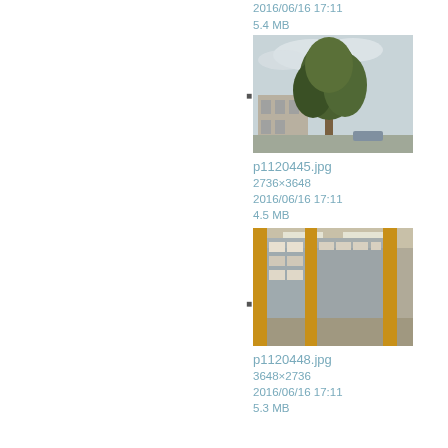2016/06/16 17:11
5.4 MB
[Figure (photo): Outdoor photo of a tall tree with a building behind it under a cloudy sky]
p1120445.jpg
2736×3648
2016/06/16 17:11
4.5 MB
[Figure (photo): Indoor corridor with yellow pillars and glass panels showing posters/notices]
p1120448.jpg
3648×2736
2016/06/16 17:11
5.3 MB
[Figure (photo): Indoor corridor with yellow structural elements and horizontal window blinds]
p1120449.jpg
3648×2736